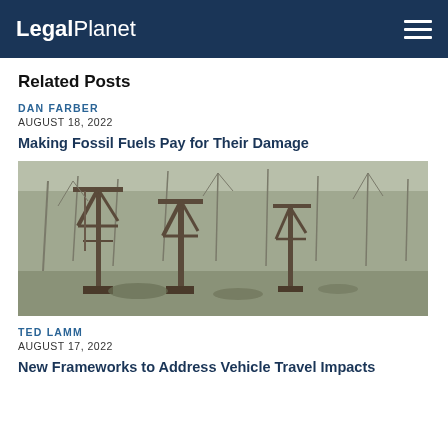LegalPlanet
Related Posts
DAN FARBER
AUGUST 18, 2022
Making Fossil Fuels Pay for Their Damage
[Figure (photo): Photograph of old rusted oil field equipment and pump jacks amid bare trees in a woodland setting]
TED LAMM
AUGUST 17, 2022
New Frameworks to Address Vehicle Travel Impacts